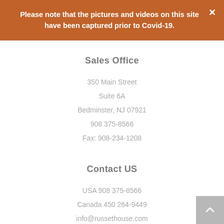Please note that the pictures and videos on this site have been captured prior to Covid-19.
Sales Office
350 Main Street
Suite 6A
Bedminster, NJ 07921
908 375-8566
Fax: 908-234-1208
Contact US
USA 908 375-8566
Canada 450 264-9449
info@russethouse.com